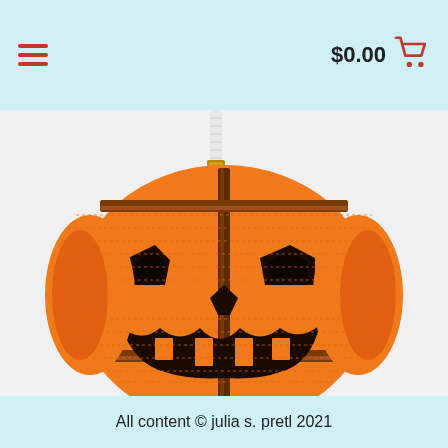$0.00
[Figure (photo): A beaded jack-o-lantern pumpkin ornament made from orange, black, and brown seed beads, with an evil jack-o-lantern face design. The beadwork is 3D and round, hanging from a white cord with a gold hardware connector at the top.]
All content © julia s. pretl 2021